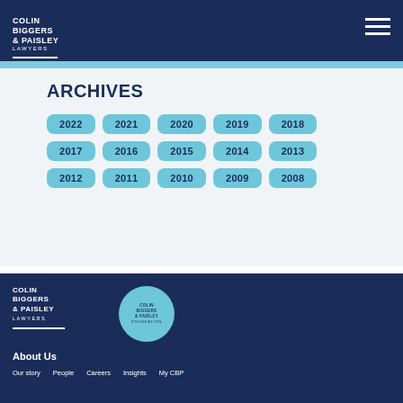Colin Biggers & Paisley Lawyers
ARCHIVES
2022
2021
2020
2019
2018
2017
2016
2015
2014
2013
2012
2011
2010
2009
2008
Colin Biggers & Paisley Lawyers | Colin Biggers & Paisley Foundation | About Us | Our story | People | Careers | Insights | My CBP